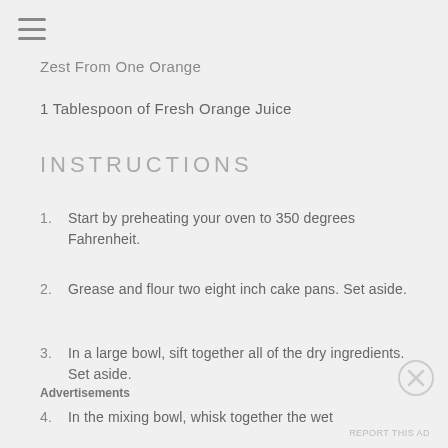Zest From One Orange
1 Tablespoon of Fresh Orange Juice
INSTRUCTIONS
1. Start by preheating your oven to 350 degrees Fahrenheit.
2. Grease and flour two eight inch cake pans. Set aside.
3. In a large bowl, sift together all of the dry ingredients. Set aside.
4. In the mixing bowl, whisk together the wet
Advertisements
REPORT THIS AD